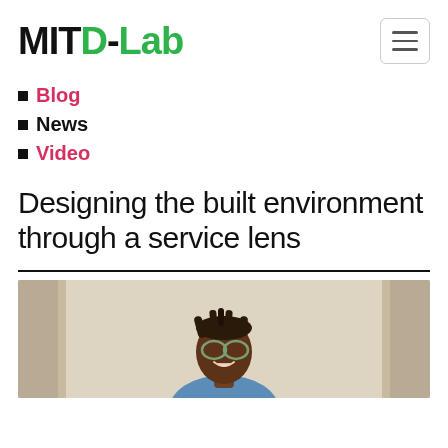MIT D-Lab
Blog
News
Video
Designing the built environment through a service lens
[Figure (photo): Portrait photo of a smiling person with dreadlocks and glasses, wearing a blue top, standing in front of beige curtains]